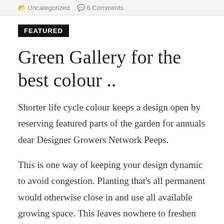Uncategorized  6 Comments
FEATURED
Green Gallery for the best colour ..
Shorter life cycle colour keeps a design open by reserving featured parts of the garden for annuals dear Designer Growers Network Peeps.
This is one way of keeping your design dynamic to avoid congestion. Planting that’s all permanent would otherwise close in and use all available growing space. This leaves nowhere to freshen your design with the ever-